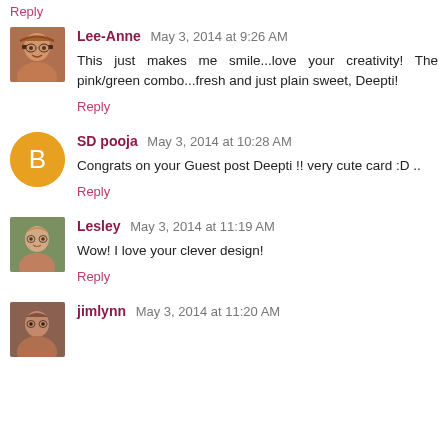Reply
Lee-Anne  May 3, 2014 at 9:26 AM
This just makes me smile...love your creativity! The pink/green combo...fresh and just plain sweet, Deepti!
Reply
SD pooja  May 3, 2014 at 10:28 AM
Congrats on your Guest post Deepti !! very cute card :D ..
Reply
Lesley  May 3, 2014 at 11:19 AM
Wow! I love your clever design!
Reply
jimlynn  May 3, 2014 at 11:20 AM